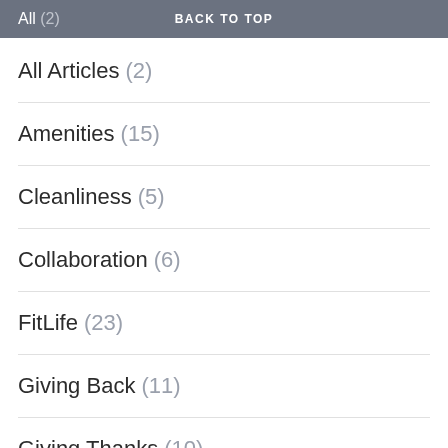All (2) BACK TO TOP
All Articles (2)
Amenities (15)
Cleanliness (5)
Collaboration (6)
FitLife (23)
Giving Back (11)
Giving Thanks (10)
IHRSA (11)
Industry Leaders (21)